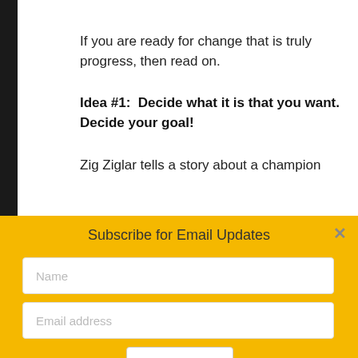If you are ready for change that is truly progress, then read on.
Idea #1:  Decide what it is that you want. Decide your goal!
Zig Ziglar tells a story about a champion
Subscribe for Email Updates
Name
Email address
SUBMIT